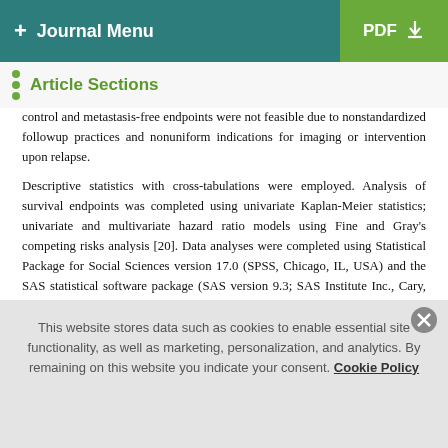+ Journal Menu   PDF ↓
Article Sections
control and metastasis-free endpoints were not feasible due to nonstandardized followup practices and nonuniform indications for imaging or intervention upon relapse.
Descriptive statistics with cross-tabulations were employed. Analysis of survival endpoints was completed using univariate Kaplan-Meier statistics; univariate and multivariate hazard ratio models using Fine and Gray's competing risks analysis [20]. Data analyses were completed using Statistical Package for Social Sciences version 17.0 (SPSS, Chicago, IL, USA) and the SAS statistical software package (SAS version 9.3; SAS Institute Inc., Cary, NC). Significance was defined as P < 0.05
This website stores data such as cookies to enable essential site functionality, as well as marketing, personalization, and analytics. By remaining on this website you indicate your consent. Cookie Policy